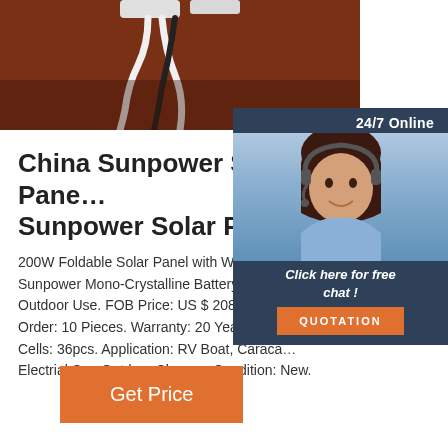[Figure (photo): Photo of solar panel with white and black cables/wires against a reddish-brown background, viewed from above]
[Figure (photo): Customer service agent (woman with headset) with 24/7 Online chat widget, dark blue background, orange QUOTATION button]
China Sunpower Solar Panel, Sunpower Solar Panel ...
200W Foldable Solar Panel with Water Res… Sunpower Mono-Crystalline Battery Charge… Outdoor Use. FOB Price: US $ 208-235 Pie… Order: 10 Pieces. Warranty: 20 Years. Num… Cells: 36pcs. Application: RV Boat, Caraoan… Electrial Car, Outdoor Charger. Condition: New.
Get Price